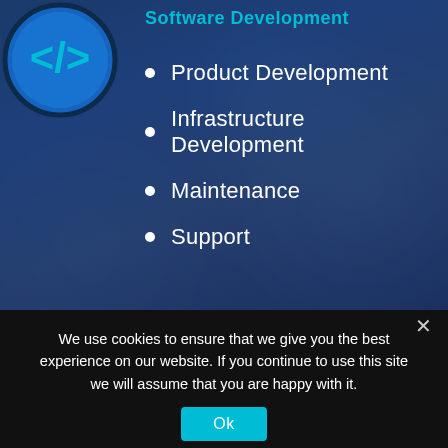[Figure (logo): Circular blue icon with a code slash-bracket symbol (coding/software logo) on dark navy background]
Software Development
Product Development
Infrastructure Development
Maintenance
Support
We use cookies to ensure that we give you the best experience on our website. If you continue to use this site we will assume that you are happy with it.